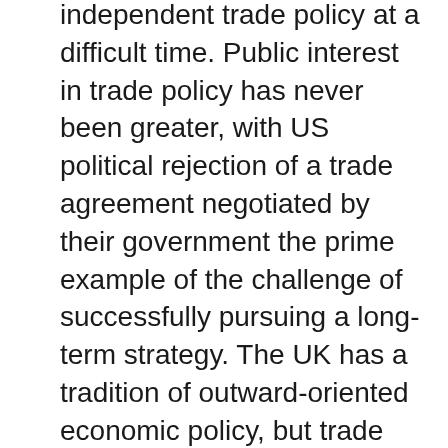independent trade policy at a difficult time. Public interest in trade policy has never been greater, with US political rejection of a trade agreement negotiated by their government the prime example of the challenge of successfully pursuing a long-term strategy. The UK has a tradition of outward-oriented economic policy, but trade agreements are seen by many as a problem.
Trade policy always has the potential for controversy. Domestic and international interests ask for the protection or promotion of their interests, and this is not fully possible, not least given some are contradictory. Successfully managing these trade-offs is at the heart of effective trade